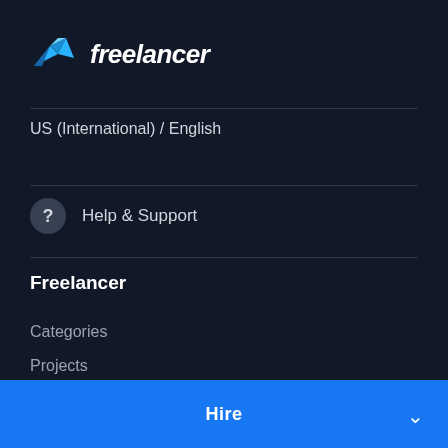[Figure (logo): Freelancer logo with teal geometric bird/plane icon and italic white wordmark 'freelancer']
US (International) / English
Help & Support
Freelancer
Categories
Projects
Contests
Freelancers
Enterprise
Hire